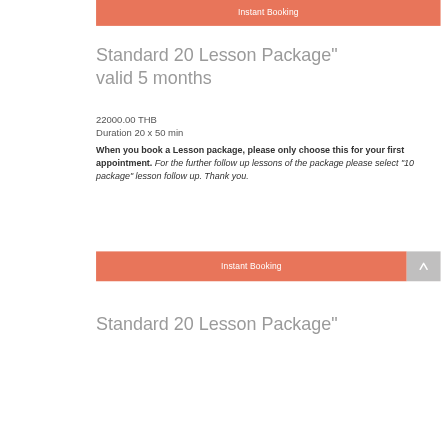Instant Booking
Standard 20 Lesson Package" valid 5 months
22000.00 THB
Duration 20 x 50 min
When you book a Lesson package, please only choose this for your first appointment. For the further follow up lessons of the package please select "10 package" lesson follow up. Thank you.
Instant Booking
Standard 20 Lesson Package"